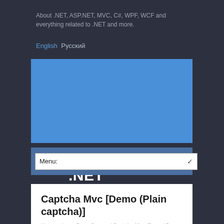About .NET, ASP.NET, MVC, C#, WPF, WCF and everything related to .NET and more.
English Русский
Vyacheslav on .NET
Menu:
Captcha Mvc [Demo (Plain captcha)]
You are here: Open Source / Captcha Mvc /Demo/ Demo (Plain captcha)